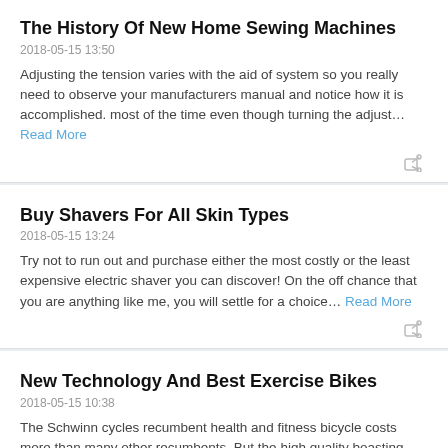The History Of New Home Sewing Machines
2018-05-15 13:50
Adjusting the tension varies with the aid of system so you really need to observe your manufacturers manual and notice how it is accomplished. most of the time even though turning the adjust… Read More
Buy Shavers For All Skin Types
2018-05-15 13:24
Try not to run out and purchase either the most costly or the least expensive electric shaver you can discover! On the off chance that you are anything like me, you will settle for a choice… Read More
New Technology And Best Exercise Bikes
2018-05-15 10:38
The Schwinn cycles recumbent health and fitness bicycle costs more than many other recumbents. But the high quality boasting create it a very mid-priced device. It's an upgrade of the… Read More